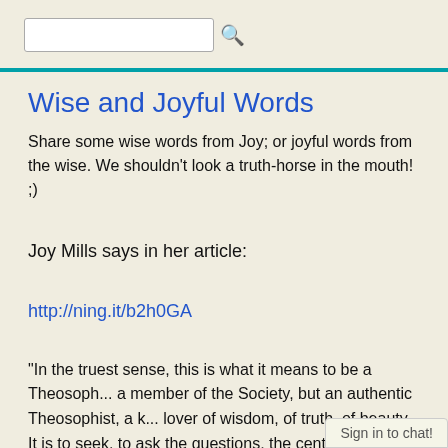Wise and Joyful Words
Share some wise words from Joy; or joyful words from the wise. We shouldn't look a truth-horse in the mouth! ;)
Joy Mills says in her article:
http://ning.it/b2h0GA
“In the truest sense, this is what it means to be a Theosoph... a member of the Society, but an authentic Theosophist, a k... lover of wisdom, of truth, of beauty. It is to seek, to ask the questions, the central questions o...
Sign in to chat!